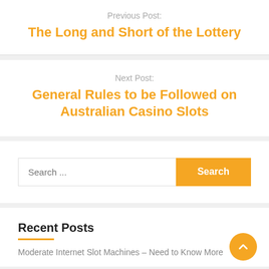Previous Post:
The Long and Short of the Lottery
Next Post:
General Rules to be Followed on Australian Casino Slots
Search ...
Recent Posts
Moderate Internet Slot Machines – Need to Know More